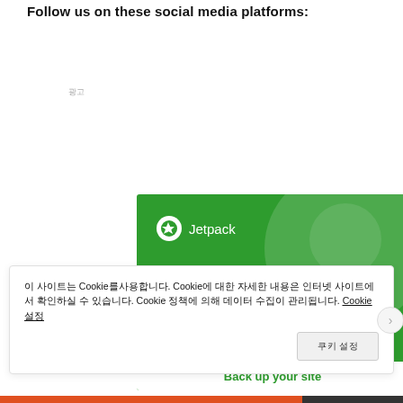Follow us on these social media platforms:
[Figure (advertisement): Jetpack advertisement banner with green background showing logo, headline 'The best real-time WordPress backup plugin' and a 'Back up your site' button]
이 사이트는 Cookie를사용합니다. Cookie에 대한 자세한 내용은 인터넷 사이트에서 확인하실 수 있습니다. Cookie 정책에 의해 데이터 수집이 관리됩니다. Cookie 설정
쿠키 설정